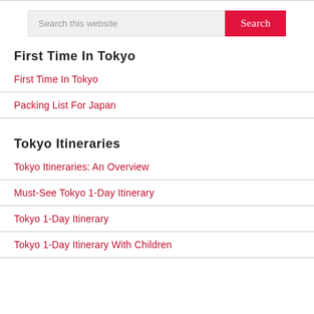First Time In Tokyo
First Time In Tokyo
Packing List For Japan
Tokyo Itineraries
Tokyo Itineraries: An Overview
Must-See Tokyo 1-Day Itinerary
Tokyo 1-Day Itinerary
Tokyo 1-Day Itinerary With Children